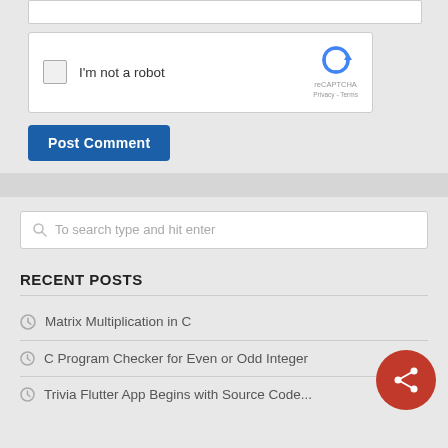[Figure (screenshot): reCAPTCHA widget with checkbox, 'I'm not a robot' text, reCAPTCHA logo, Privacy and Terms links]
Post Comment
To search type and hit enter
RECENT POSTS
Matrix Multiplication in C
C Program Checker for Even or Odd Integer
Trivia Flutter App Begins with Source Code...